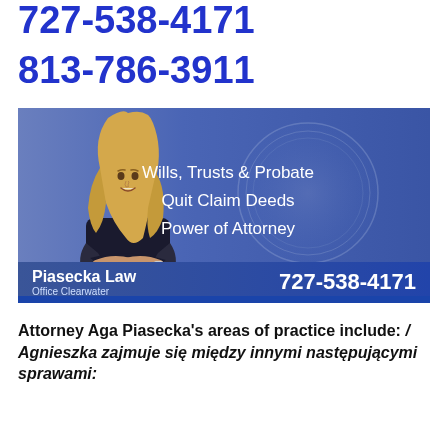727-538-4171
813-786-3911
[Figure (photo): Advertisement for Piasecka Law Office Clearwater showing a blonde female attorney in a black outfit with arms crossed, against a blue gradient background. Text lists: Wills, Trusts & Probate; Quit Claim Deeds; Power of Attorney. Footer shows Piasecka Law Office Clearwater and phone number 727-538-4171.]
Attorney Aga Piasecka's areas of practice include: / Agnieszka zajmuje się między innymi następującymi sprawami: